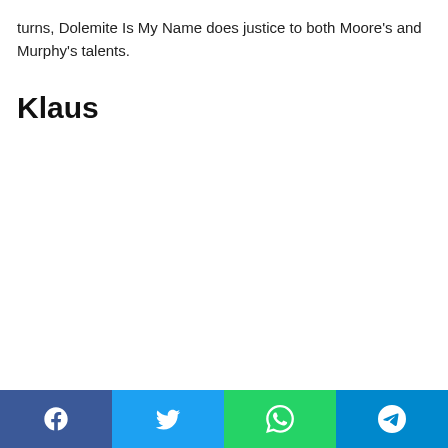turns, Dolemite Is My Name does justice to both Moore's and Murphy's talents.
Klaus
Social share bar: Facebook, Twitter, WhatsApp, Telegram